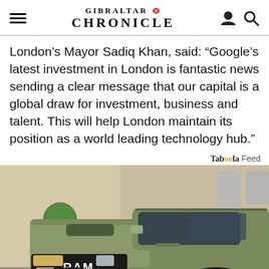Gibraltar Chronicle
London's Mayor Sadiq Khan, said: “Google’s latest investment in London is fantastic news sending a clear message that our capital is a global draw for investment, business and talent. This will help London maintain its position as a world leading technology hub.”
Tabööla Feed
[Figure (photo): A matte olive/army green RAM pickup truck (RAM TRX or similar) parked in a driveway or courtyard, with a topiary ball tree visible on the left and a building facade in the background.]